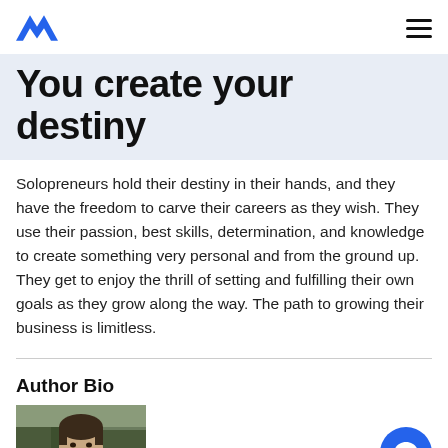You create your destiny
Solopreneurs hold their destiny in their hands, and they have the freedom to carve their careers as they wish. They use their passion, best skills, determination, and knowledge to create something very personal and from the ground up. They get to enjoy the thrill of setting and fulfilling their own goals as they grow along the way. The path to growing their business is limitless.
Author Bio
[Figure (photo): Author headshot photo showing a man with dark hair outdoors with trees in background]